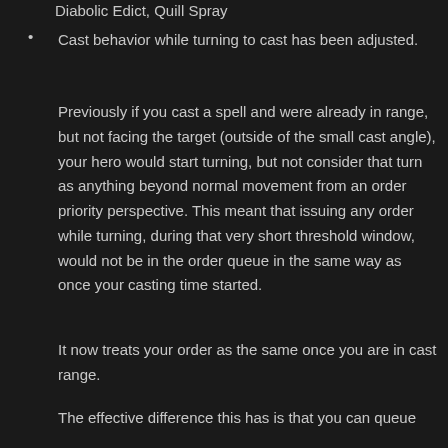Diabolic Edict, Quill Spray
Cast behavior while turning to cast has been adjusted.
Previously if you cast a spell and were already in range, but not facing the target (outside of the small cast angle), your hero would start turning, but not consider that turn as anything beyond normal movement from an order priority perspective. This meant that issuing any order while turning, during that very short threshold window, would not be in the order queue in the same way as once your casting time started.
It now treats your order as the same once you are in cast range.
The effective difference this has is that you can queue